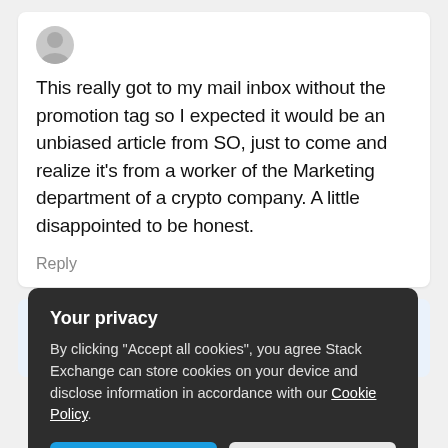This really got to my mail inbox without the promotion tag so I expected it would be an unbiased article from SO, just to come and realize it's from a worker of the Marketing department of a crypto company. A little disappointed to be honest.
Reply
Ryan Donovan
Your privacy
By clicking "Accept all cookies", you agree Stack Exchange can store cookies on your device and disclose information in accordance with our Cookie Policy.
Accept all cookies
Customize settings